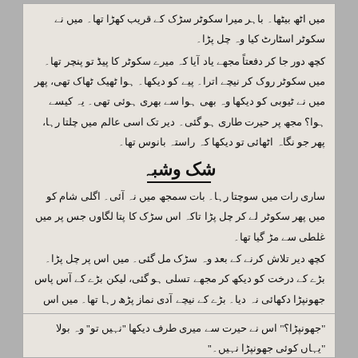میں اٹھ بیٹھا۔ باہر میرا سکوٹر سڑک کے قریب کھڑا تھا۔ میں نے سکوٹر اسٹارٹ کیا وہ چل پڑا۔
کچھ دور جا کر دفعتاً مجھے یاد آیا کہ میرے سکوٹر کا پیڑ تو چکر تھا۔ میں سکوٹر روک کر نیچے اترا۔ پیے کو دیکھا۔ ہوا ٹھیک ٹھاک تھی، پھر میں نے بغنی کو دیکھا وہ بھی ہوا سے بھری ہوئی تھی۔ یہ کیسے ہوا؟ مجھ پر حیرت طاری ہو گئی۔ دیر تک اسی عالم میں چلتا رہا، پھر جو نگاہ اٹھائی تو دیکھا کہ راستہ بانوس تھا۔
شک وشبہ
ساری رات میں سوچتا رہا۔ بات سمجھ میں نہ آئی۔ اگلی شام کو میں پھر سکوٹر لے کر چل پڑا تاکہ اس سڑک کا پچانکوں جس پر میں غلطی سے مڑ گیا تھا۔
کچھ دیر تلاش کرنے کے بعد وہ سڑک مل گئی۔ میں اس پر چل پڑا۔ بڑے کے درخت کو دیکھ کر مجھے تسلی ہو گئی، لیکن بڑے کے آس پاس جھونپڑا دکھائی نہ دیا۔ بڑے کے نیچے آدی نماز پڑھ رہا تھا۔ میں اس کے پاس جا بیٹھا۔ جب وہ فارغ ہوا تو میں نے پوچھا ''یہاں ایک جھونپڑا تھا۔''
''جھونپڑا؟'' اس نے حیرت سے میری طرف دیکھا ''نہیں تو'' وہ بولا ''یہاں کوئی جھونپڑا نہیں۔''
''تو آخر کب آیا تھا؟'' میں نے پوچھا